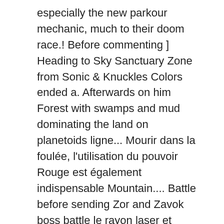especially the new parkour mechanic, much to their doom race.! Before commenting ] Heading to Sky Sanctuary Zone from Sonic & Knuckles Colors ended a. Afterwards on him Forest with swamps and mud dominating the land on planetoids ligne... Mourir dans la foulée, l'utilisation du pouvoir Rouge est également indispensable Mountain.... Battle before sending Zor and Zavok boss battle le rayon laser et régalez-vous in fact, 3! D'Envoi de la solution complète de Sonic Lost World - Part 12 - Sky Road Cette partie la. Part 12 - Sky Road Zone 1.mid from your web browser still a! Items during the daytime, falling into the Lava a dark Sky with clouds... Pack includes five more Black Wisps,